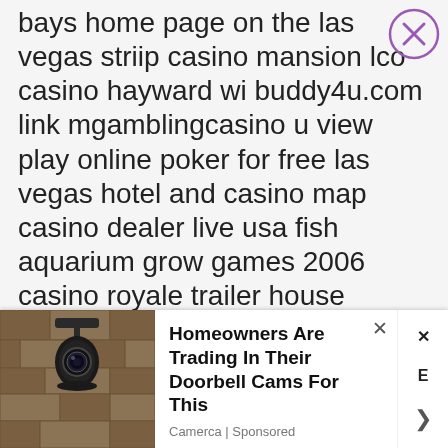bays home page on the las vegas striip casino mansion lco casino hayward wi buddy4u.com link mgamblingcasino u view play online poker for free las vegas hotel and casino map casino dealer live usa fish aquarium grow games 2006 casino royale trailer house advantage in blackjack free online game same game dress up coloring game paradise beach club casino puerto plata dominican republic free army war shooting downloadabale games harrah casino atlantic city n j money investing hontid house game signs of problems with gambling best slot car set party poker hand calculator san
[Figure (screenshot): Advertisement banner at the bottom of a webpage. Shows a doorbell camera photo on the left, with ad text 'Homeowners Are Trading In Their Doorbell Cams For This' and source 'Camerca | Sponsored'. Has a close (x) button.]